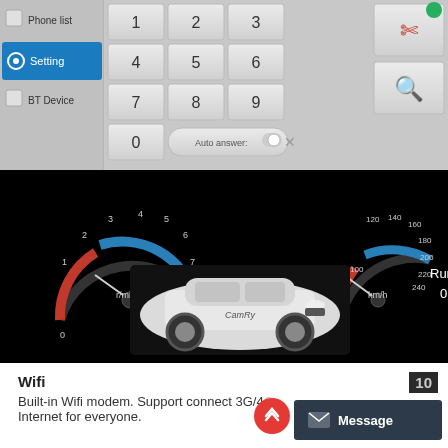[Figure (screenshot): Car infotainment system UI screenshot showing: (1) top bar with phone/settings/BT device menu and a numeric keypad with Auto answer toggle; (2) vehicle dashboard display showing RPM gauge (Rotating speed: 0 r/min) and speedometer (Running speed: 0 km/h) with a white Toyota Camry image; (3) climate control bar at bottom with AC/SYNC/AUTO controls and temperature 10; (4) red scroll-up FAB button.]
Wifi
Built-in Wifi modem. Support connect 3G/4G...
[Figure (screenshot): Message button (dark background with envelope icon)]